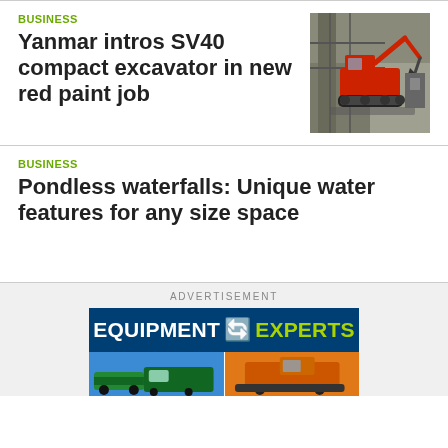BUSINESS
Yanmar intros SV40 compact excavator in new red paint job
[Figure (photo): Red Yanmar SV40 compact excavator at a worksite]
BUSINESS
Pondless waterfalls: Unique water features for any size space
ADVERTISEMENT
[Figure (other): Equipment Experts advertisement banner with logo and machinery images]